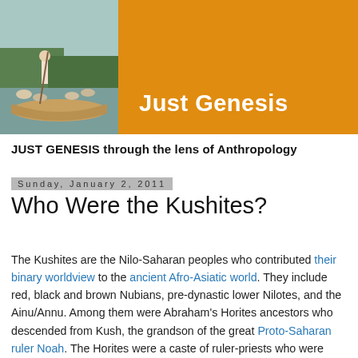[Figure (photo): Header banner with a photo on the left of people on a wooden boat near a river with greenery, and an orange panel on the right with the text 'Just Genesis' in white bold font.]
JUST GENESIS through the lens of Anthropology
Sunday, January 2, 2011
Who Were the Kushites?
The Kushites are the Nilo-Saharan peoples who contributed their binary worldview to the ancient Afro-Asiatic world. They include red, black and brown Nubians, pre-dynastic lower Nilotes, and the Ainu/Annu. Among them were Abraham's Horites ancestors who descended from Kush, the grandson of the great Proto-Saharan ruler Noah. The Horites were a caste of ruler-priests who were devotees of Hor/Horus. Jews